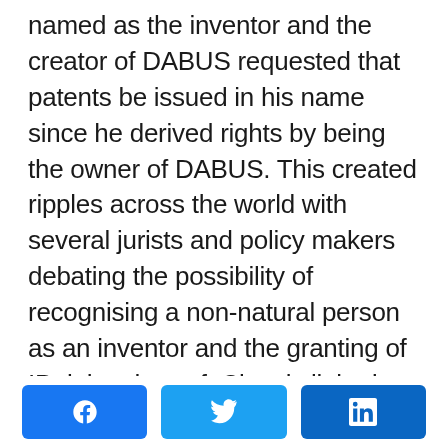named as the inventor and the creator of DABUS requested that patents be issued in his name since he derived rights by being the owner of DABUS. This created ripples across the world with several jurists and policy makers debating the possibility of recognising a non-natural person as an inventor and the granting of IP rights thereof. Closely linked with this is also the debate regarding granting of personhood to AI. This blog discusses the decisions made by the IP offices in US, UK and EU, and looks at the
[Figure (other): Social sharing buttons for Facebook, Twitter, and LinkedIn]